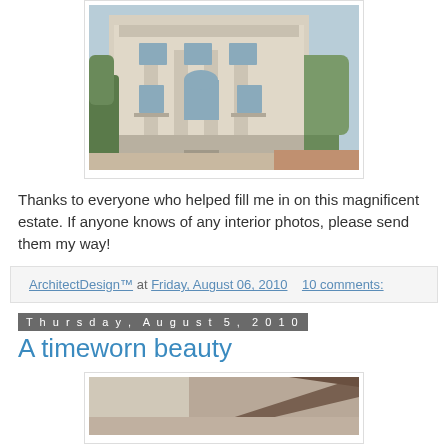[Figure (photo): Exterior photo of a grand white neoclassical estate building with columns, ornate facade, arched windows, and surrounding greenery/hedges. Photo is framed in a white bordered box.]
Thanks to everyone who helped fill me in on this magnificent estate. If anyone knows of any interior photos, please send them my way!
ArchitectDesign™ at Friday, August 06, 2010    10 comments:
Thursday, August 5, 2010
A timeworn beauty
[Figure (photo): Partial photo of what appears to be a wooden architectural detail or roofline, cropped at bottom of page.]